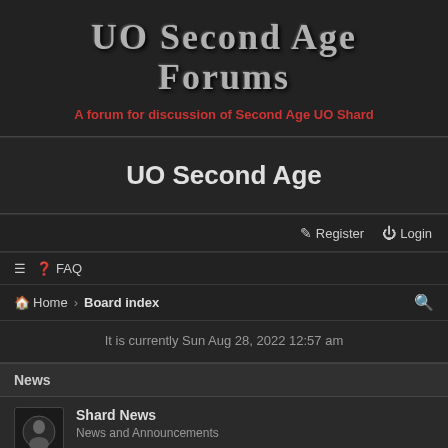UO Second Age Forums
A forum for discussion of Second Age UO Shard
UO Second Age
Register  Login
≡  FAQ
Home › Board index
It is currently Sun Aug 28, 2022 12:57 am
News
Shard News
News and Announcements